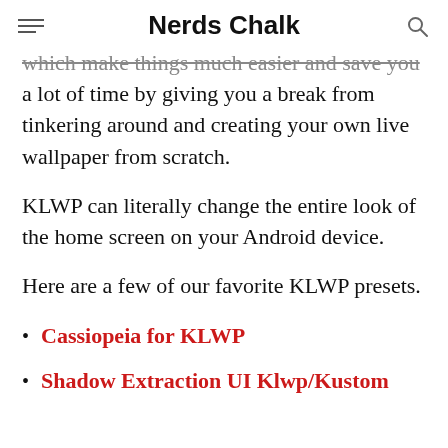Nerds Chalk
which make things much easier and save you a lot of time by giving you a break from tinkering around and creating your own live wallpaper from scratch.
KLWP can literally change the entire look of the home screen on your Android device.
Here are a few of our favorite KLWP presets.
Cassiopeia for KLWP
Shadow Extraction UI Klwp/Kustom